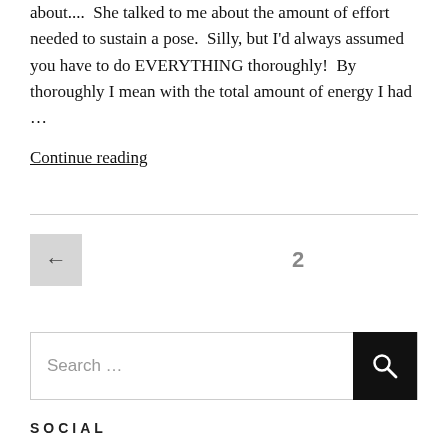about....  She talked to me about the amount of effort needed to sustain a pose.  Silly, but I'd always assumed you have to do EVERYTHING thoroughly!  By thoroughly I mean with the total amount of energy I had …
Continue reading
← 2
Search …
SOCIAL